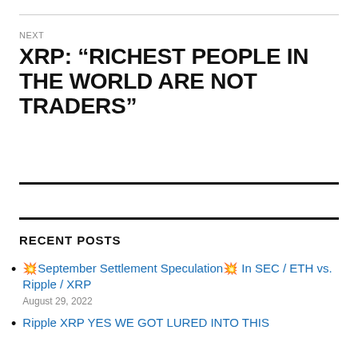NEXT
XRP: “RICHEST PEOPLE IN THE WORLD ARE NOT TRADERS”
RECENT POSTS
💥September Settlement Speculation💥 In SEC / ETH vs. Ripple / XRP
August 29, 2022
Ripple XRP YES WE GOT LURED INTO THIS